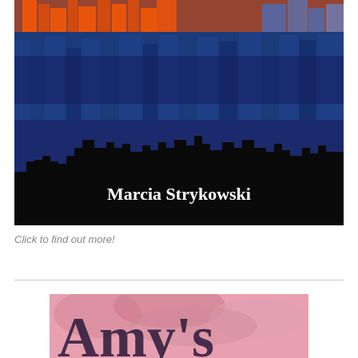[Figure (illustration): Book cover illustration showing a city skyline silhouette in dark blue/black against an orange and blue abstract background. White text reads 'Marcia Strykowski' near the bottom of the cover.]
Click to find out more!
[Figure (illustration): Partial book cover showing a pink/purple cloudy sky background with large decorative text beginning 'Amy's' partially visible at the bottom.]